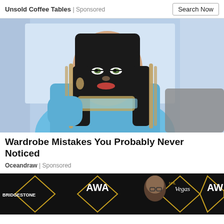Unsold Coffee Tables | Sponsored    Search Now
[Figure (photo): Woman dressed in Cleopatra-style costume with black wig, blue dress and Egyptian jewelry, against a light curtain background]
Wardrobe Mistakes You Probably Never Noticed
Oceandraw | Sponsored
[Figure (photo): Lower cropped image of people at what appears to be NHL Awards event, with Bridgestone and Vegas logos visible, and a bald man visible]